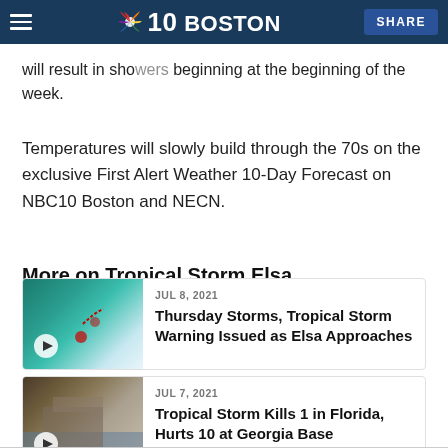NBC10 Boston
high will continue to pump tropical air into the region. This will result in showers beginning at the beginning of the week.
Temperatures will slowly build through the 70s on the exclusive First Alert Weather 10-Day Forecast on NBC10 Boston and NECN.
More on Tropical Storm Elsa
[Figure (photo): Thumbnail image of tropical storm weather map with play button]
JUL 8, 2021
Thursday Storms, Tropical Storm Warning Issued as Elsa Approaches
[Figure (photo): Thumbnail image of flooding/storm surge with play button]
JUL 7, 2021
Tropical Storm Kills 1 in Florida, Hurts 10 at Georgia Base